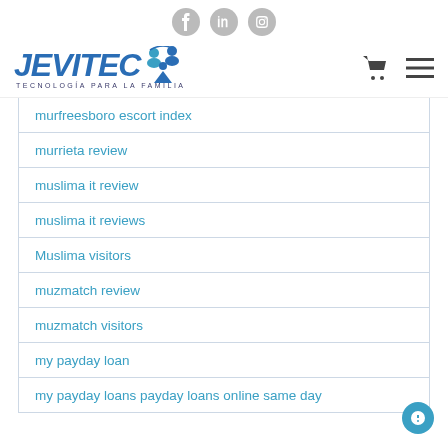[Figure (logo): Social media icons: Facebook, LinkedIn, Instagram circles in gray]
[Figure (logo): Jevitec logo - blue italic bold text with people icon, tagline 'TECNOLOGÍA PARA LA FAMILIA', cart and menu icons on right]
murfreesboro escort index
murrieta review
muslima it review
muslima it reviews
Muslima visitors
muzmatch review
muzmatch visitors
my payday loan
my payday loans payday loans online same day